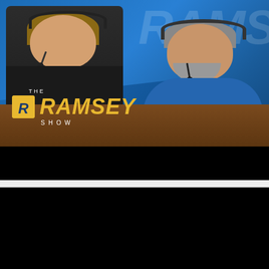[Figure (photo): The Ramsey Show thumbnail: two men wearing headsets seated at a studio desk. Left man in black jacket smiling, right man in blue shirt speaking. 'THE RAMSEY SHOW' logo with yellow R icon and yellow RAMSEY text on blue background.]
[Figure (screenshot): YouTube video listing for 'Live Like No One Else So Later You Ca...' from The Ramsey Show channel. Shows Ramsey Solutions blue circular icon with yellow R logo, video title truncated, three-dot menu icon, and video thumbnail below showing two men with headsets on blue background with partial RAM text.]